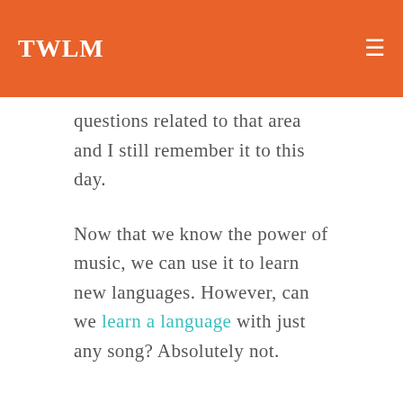TWLM
questions related to that area and I still remember it to this day.
Now that we know the power of music, we can use it to learn new languages. However, can we learn a language with just any song? Absolutely not.
What Are The Criteria To Look For In A Song?